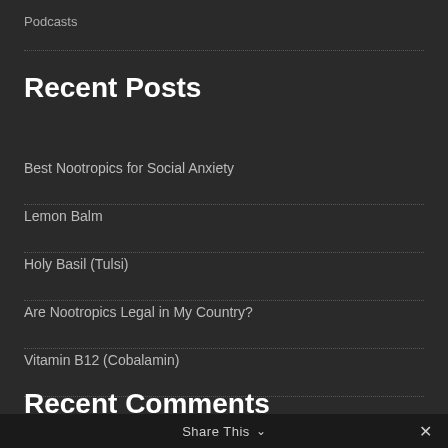Podcasts
Recent Posts
Best Nootropics for Social Anxiety
Lemon Balm
Holy Basil (Tulsi)
Are Nootropics Legal in My Country?
Vitamin B12 (Cobalamin)
Recent Comments
Share This ∨ ✕